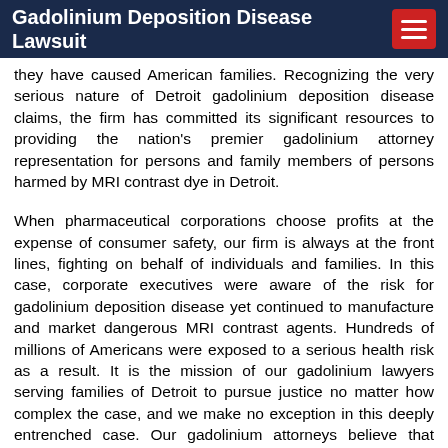Gadolinium Deposition Disease Lawsuit
they have caused American families. Recognizing the very serious nature of Detroit gadolinium deposition disease claims, the firm has committed its significant resources to providing the nation's premier gadolinium attorney representation for persons and family members of persons harmed by MRI contrast dye in Detroit.
When pharmaceutical corporations choose profits at the expense of consumer safety, our firm is always at the front lines, fighting on behalf of individuals and families. In this case, corporate executives were aware of the risk for gadolinium deposition disease yet continued to manufacture and market dangerous MRI contrast agents. Hundreds of millions of Americans were exposed to a serious health risk as a result. It is the mission of our gadolinium lawyers serving families of Detroit to pursue justice no matter how complex the case, and we make no exception in this deeply entrenched case. Our gadolinium attorneys believe that persons and the family members of persons who have been